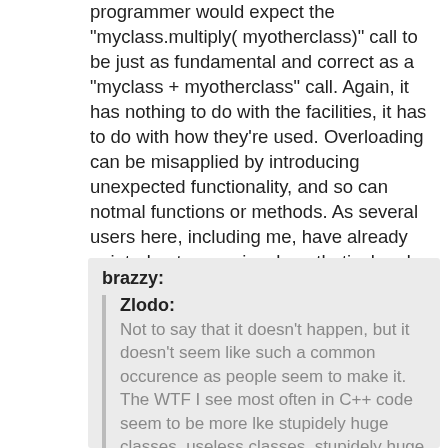programmer would expect the "myclass.multiply( myotherclass)" call to be just as fundamental and correct as a "myclass + myotherclass" call. Again, it has nothing to do with the facilities, it has to do with how they're used. Overloading can be misapplied by introducing unexpected functionality, and so can notmal functions or methods. As several users here, including me, have already pointed out, yours is a hypothetical and rethorical objection (and Java market speak) exceedingly rarely seen in live, non-newbie code.
brazzy: Zlodo: Not to say that it doesn't happen, but it doesn't seem like such a common occurence as people seem to make it. The WTF I see most often in C++ code seem to be more lke stupidely huge classes, useless classes, stupidely huge functions, juggling with pointers,